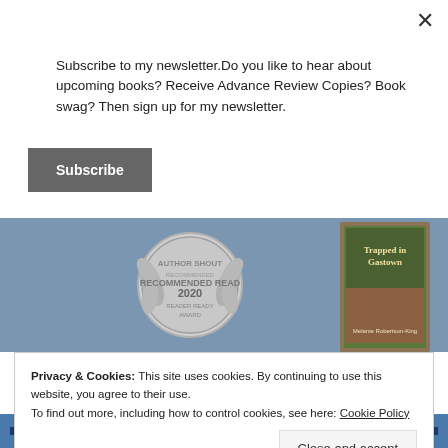×
Subscribe to my newsletter.Do you like to hear about upcoming books? Receive Advance Review Copies? Book swag? Then sign up for my newsletter.
Subscribe
[Figure (illustration): Blue banner with Author Shout Recommended Read 2020 Reader Ready Award silver medal/badge on left, and a book cover 'Trapped in Gasstown' by Melanie Robertson-King on the right.]
Privacy & Cookies: This site uses cookies. By continuing to use this website, you agree to their use.
To find out more, including how to control cookies, see here: Cookie Policy
Close and accept
2020 AUTHOR SHOUT